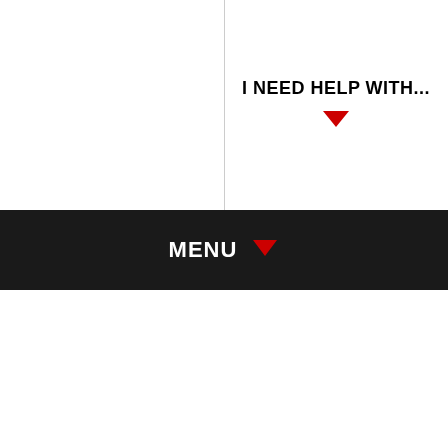I NEED HELP WITH...
[Figure (other): Red downward chevron icon below 'I NEED HELP WITH...' text]
MENU
[Figure (other): Red downward chevron icon next to MENU text in dark navigation bar]